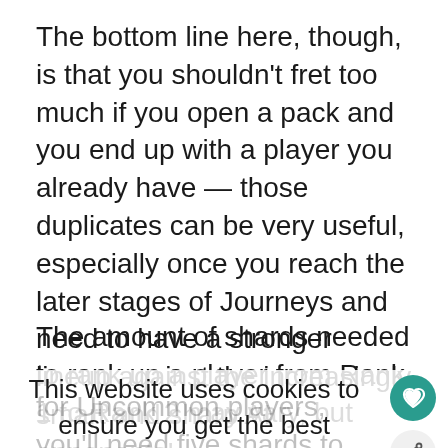The bottom line here, though, is that you shouldn't fret too much if you open a pack and you end up with a player you already have — those duplicates can be very useful, especially once you reach the later stages of Journeys and need to have a stronger lineup against the increasingly smart and sharp AI opponents!
The amount of shards needed to rank up a player from Rank 1 to Rank 2 may vary, but
This website uses cookies to ensure you get the best experience on our website.  Read more     Accept
for Uncommon players, you'll need five shards to get them to that next rank — to give an example of how this affects OVR, our le